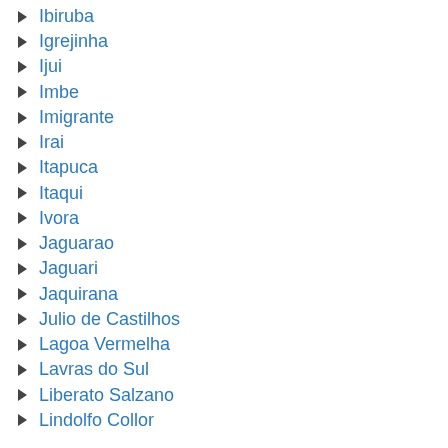Ibiruba
Igrejinha
Ijui
Imbe
Imigrante
Irai
Itapuca
Itaqui
Ivora
Jaguarao
Jaguari
Jaquirana
Julio de Castilhos
Lagoa Vermelha
Lavras do Sul
Liberato Salzano
Lindolfo Collor